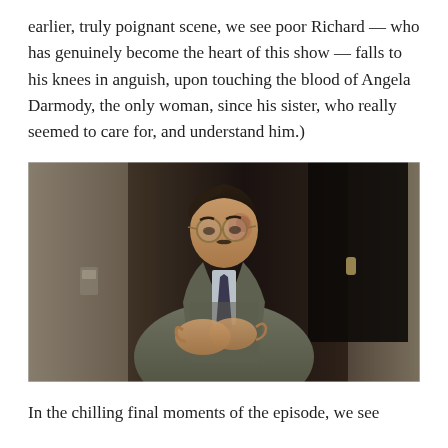earlier, truly poignant scene, we see poor Richard — who has genuinely become the heart of this show — falls to his knees in anguish, upon touching the blood of Angela Darmody, the only woman, since his sister, who really seemed to care for, and understand him.)
[Figure (photo): A man with round glasses, a mustache, wearing a tweed jacket and dark tie, looking downward at his hands in apparent anguish or distress. He appears to be a period drama character, photographed in a dimly lit indoor setting.]
In the chilling final moments of the episode, we see